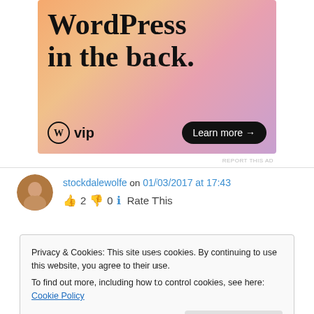[Figure (other): WordPress VIP advertisement banner with gradient background (orange/pink/purple). Shows text 'WordPress in the back.' with WP VIP logo and 'Learn more →' button.]
REPORT THIS AD
stockdalewolfe on 01/03/2017 at 17:43
👍 2 👎 0 ℹ Rate This
Privacy & Cookies: This site uses cookies. By continuing to use this website, you agree to their use.
To find out more, including how to control cookies, see here: Cookie Policy
Close and accept